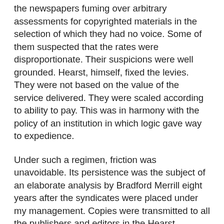the newspapers fuming over arbitrary assessments for copyrighted materials in the selection of which they had no voice. Some of them suspected that the rates were disproportionate. Their suspicions were well grounded. Hearst, himself, fixed the levies. They were not based on the value of the service delivered. They were scaled according to ability to pay. This was in harmony with the policy of an institution in which logic gave way to expedience.
Under such a regimen, friction was unavoidable. Its persistence was the subject of an elaborate analysis by Bradford Merrill eight years after the syndicates were placed under my management. Copies were transmitted to all the publishers and editors in the Hearst organization. They were accompanied by an identical note from H. O. Hunter, secretary to W. R. Hearst, under date of July 12, 1927. Hunter relayed a sharp comment from his chief. It pointed out Mr. Hearst’s feeling that his “newspaper folk” did not appreciate what they were getting. Merrill translated his report into an institutional lecture, which he delivered, with variations, as a “get-together” exhortation at several meetings of Hearst executives.